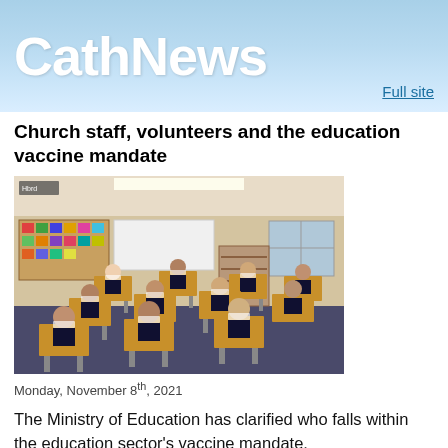CathNews
Church staff, volunteers and the education vaccine mandate
[Figure (photo): Classroom photo showing students in masks sitting at desks spaced apart, with colorful displays on the walls behind them.]
Monday, November 8th, 2021
The Ministry of Education has clarified who falls within the education sector's vaccine mandate.
On the list are those who work or volunteer in an